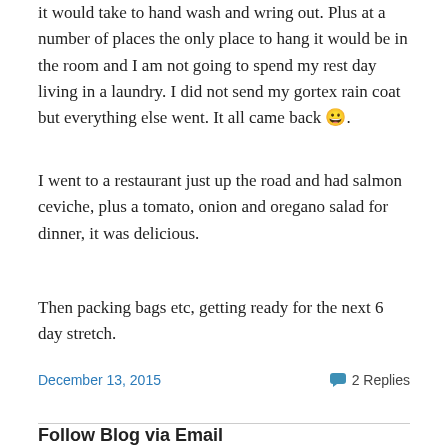it would take to hand wash and wring out. Plus at a number of places the only place to hang it would be in the room and I am not going to spend my rest day living in a laundry. I did not send my gortex rain coat but everything else went. It all came back 😀.
I went to a restaurant just up the road and had salmon ceviche, plus a tomato, onion and oregano salad for dinner, it was delicious.
Then packing bags etc, getting ready for the next 6 day stretch.
December 13, 2015    💬 2 Replies
Follow Blog via Email